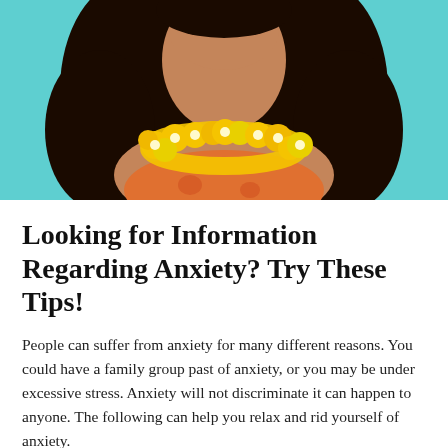[Figure (photo): Photo of a smiling woman with long dark curly hair wearing a yellow flower lei/garland necklace and colorful top, against a teal/turquoise background]
Looking for Information Regarding Anxiety? Try These Tips!
People can suffer from anxiety for many different reasons. You could have a family group past of anxiety, or you may be under excessive stress. Anxiety will not discriminate it can happen to anyone. The following can help you relax and rid yourself of anxiety.
To assist you to alleviate the difficulties with